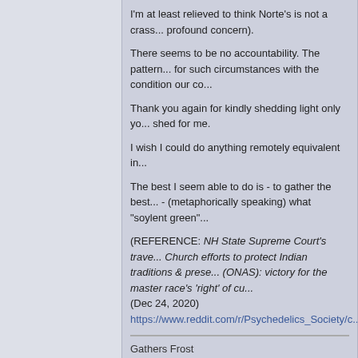I'm at least relieved to think Norte's is not a crass... profound concern).
There seems to be no accountability. The pattern... for such circumstances with the condition our co...
Thank you again for kindly shedding light only yo... shed for me.
I wish I could do anything remotely equivalent in...
The best I seem able to do is - to gather the best... - (metaphorically speaking) what "soylent green"...
(REFERENCE: NH State Supreme Court's trave... Church efforts to protect Indian traditions & prese... (ONAS): victory for the master race's 'right' of cu... (Dec 24, 2020) https://www.reddit.com/r/Psychedelics_Society/c...
Gathers Frost
Sparks
Posts: 1248
Re: Shane Michael Aaron Norte— Church of the People for Creator Mother Earth
« Reply #7 on: October 16, 2021, 04:13:24 pm »